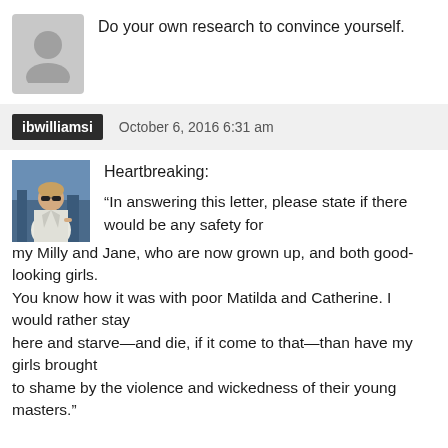Do your own research to convince yourself.
ibwilliamsi   October 6, 2016 6:31 am
[Figure (photo): Small profile photo of a woman in sunglasses wearing a white blazer]
Heartbreaking:

“In answering this letter, please state if there would be any safety for my Milly and Jane, who are now grown up, and both good-looking girls.
You know how it was with poor Matilda and Catherine. I would rather stay
here and starve—and die, if it come to that—than have my girls brought
to shame by the violence and wickedness of their young masters.”